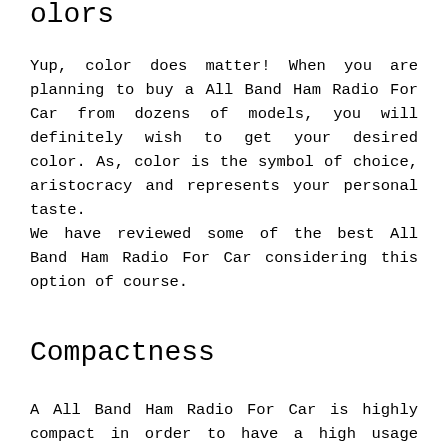Colors
Yup, color does matter! When you are planning to buy a All Band Ham Radio For Car from dozens of models, you will definitely wish to get your desired color. As, color is the symbol of choice, aristocracy and represents your personal taste.
We have reviewed some of the best All Band Ham Radio For Car considering this option of course.
Compactness
A All Band Ham Radio For Car is highly compact in order to have a high usage capacity. Compactness also ensures good portability and easy handling of a unit. Because if All Band Ham Radio For Car doesn't